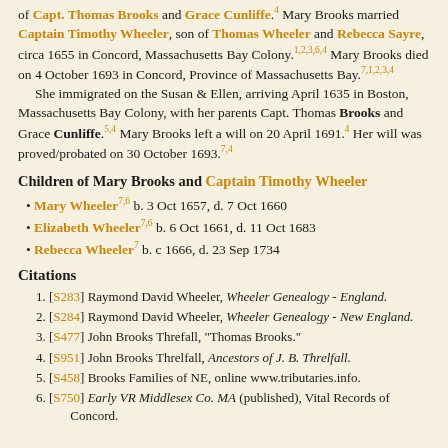of Capt. Thomas Brooks and Grace Cunliffe.4 Mary Brooks married Captain Timothy Wheeler, son of Thomas Wheeler and Rebecca Sayre, circa 1655 in Concord, Massachusetts Bay Colony.1,2,3,6,4 Mary Brooks died on 4 October 1693 in Concord, Province of Massachusetts Bay.7,1,2,3,4 She immigrated on the Susan & Ellen, arriving April 1635 in Boston, Massachusetts Bay Colony, with her parents Capt. Thomas Brooks and Grace Cunliffe.5,4 Mary Brooks left a will on 20 April 1691.4 Her will was proved/probated on 30 October 1693.7,4
Children of Mary Brooks and Captain Timothy Wheeler
Mary Wheeler 7,6 b. 3 Oct 1657, d. 7 Oct 1660
Elizabeth Wheeler 7,6 b. 6 Oct 1661, d. 11 Oct 1683
Rebecca Wheeler 7 b. c 1666, d. 23 Sep 1734
Citations
[S283] Raymond David Wheeler, Wheeler Genealogy - England.
[S284] Raymond David Wheeler, Wheeler Genealogy - New England.
[S477] John Brooks Threfall, "Thomas Brooks."
[S951] John Brooks Threlfall, Ancestors of J. B. Threlfall.
[S458] Brooks Families of NE, online www.tributaries.info.
[S750] Early VR Middlesex Co. MA (published), Vital Records of Concord.